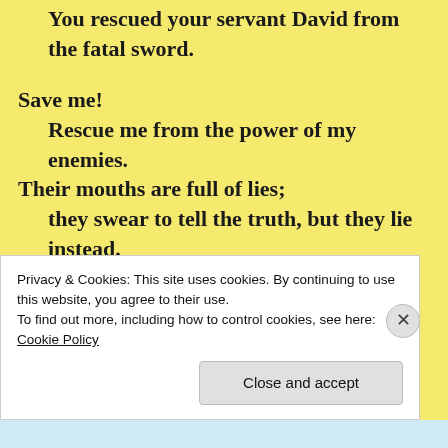You rescued your servant David from the fatal sword.
Save me!
Rescue me from the power of my enemies. Their mouths are full of lies;
they swear to tell the truth, but they lie instead.
[Figure (other): Advertisement banner showing $39.99 a year price with star graphic on blue gradient background]
Privacy & Cookies: This site uses cookies. By continuing to use this website, you agree to their use.
To find out more, including how to control cookies, see here:
Cookie Policy
Close and accept